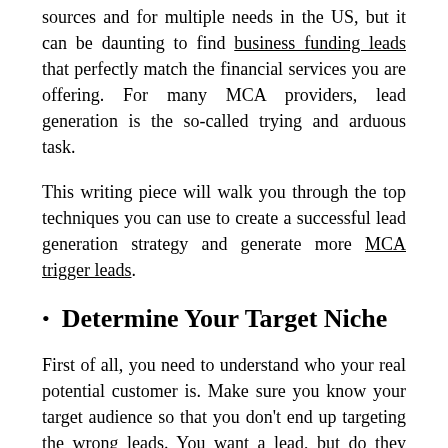sources and for multiple needs in the US, but it can be daunting to find business funding leads that perfectly match the financial services you are offering. For many MCA providers, lead generation is the so-called trying and arduous task.
This writing piece will walk you through the top techniques you can use to create a successful lead generation strategy and generate more MCA trigger leads.
Determine Your Target Niche
First of all, you need to understand who your real potential customer is. Make sure you know your target audience so that you don't end up targeting the wrong leads. You want a lead, but do they want